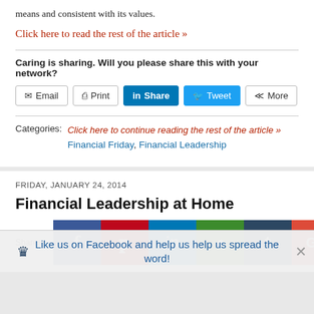means and consistent with its values.
Click here to read the rest of the article »
Caring is sharing. Will you please share this with your network?
[Figure (screenshot): Social sharing buttons: Email, Print, LinkedIn Share, Twitter Tweet, More]
Categories: Click here to continue reading the rest of the article »
Financial Friday, Financial Leadership
FRIDAY, JANUARY 24, 2014
Financial Leadership at Home
[Figure (screenshot): Social media sharing icon bar: Facebook, Pinterest, LinkedIn, Evernote, Tumblr, Google+, Crown/Sumo]
Like us on Facebook and help us help us spread the word!